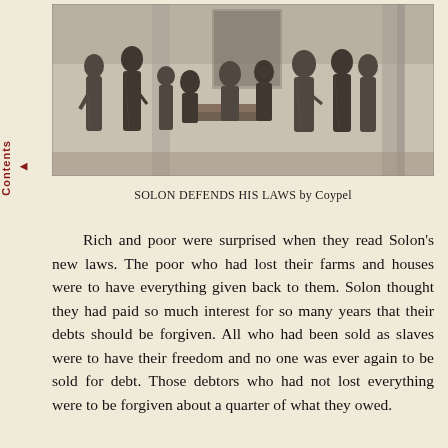[Figure (illustration): Black and white engraving of Solon defending his laws, showing multiple robed Greek figures in a columned hall gathered around a central table, by Coypel.]
SOLON DEFENDS HIS LAWS by Coypel
Rich and poor were surprised when they read Solon's new laws. The poor who had lost their farms and houses were to have everything given back to them. Solon thought they had paid so much interest for so many years that their debts should be forgiven. All who had been sold as slaves were to have their freedom and no one was ever again to be sold for debt. Those debtors who had not lost everything were to be forgiven about a quarter of what they owed.